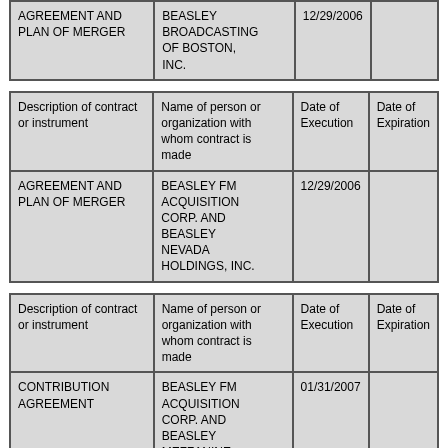| Description of contract or instrument | Name of person or organization with whom contract is made | Date of Execution | Date of Expiration |
| --- | --- | --- | --- |
| AGREEMENT AND PLAN OF MERGER | BEASLEY BROADCASTING OF BOSTON, INC. | 12/29/2006 |  |
| Description of contract or instrument | Name of person or organization with whom contract is made | Date of Execution | Date of Expiration |
| --- | --- | --- | --- |
| AGREEMENT AND PLAN OF MERGER | BEASLEY FM ACQUISITION CORP. AND BEASLEY NEVADA HOLDINGS, INC. | 12/29/2006 |  |
| Description of contract or instrument | Name of person or organization with whom contract is made | Date of Execution | Date of Expiration |
| --- | --- | --- | --- |
| CONTRIBUTION AGREEMENT | BEASLEY FM ACQUISITION CORP. AND BEASLEY MEZZANINE HOLDINGS, LLC | 01/31/2007 |  |